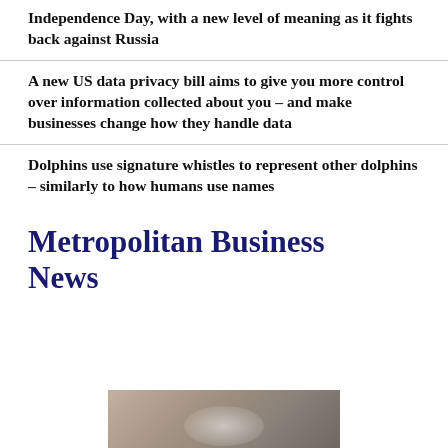Independence Day, with a new level of meaning as it fights back against Russia
A new US data privacy bill aims to give you more control over information collected about you – and make businesses change how they handle data
Dolphins use signature whistles to represent other dolphins – similarly to how humans use names
Metropolitan Business News
[Figure (photo): Partial photo showing what appears to be a phone or device on a surface, partially visible at bottom of page]